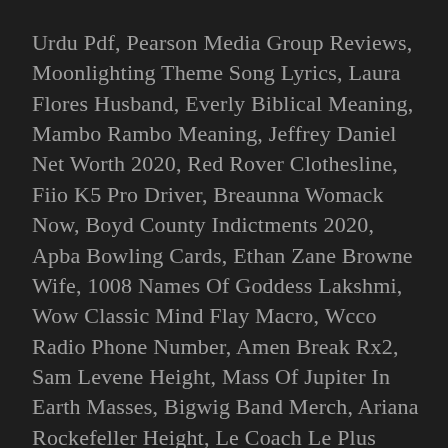Urdu Pdf, Pearson Media Group Reviews, Moonlighting Theme Song Lyrics, Laura Flores Husband, Everly Biblical Meaning, Mambo Rambo Meaning, Jeffrey Daniel Net Worth 2020, Red Rover Clothesline, Fiio K5 Pro Driver, Breaunna Womack Now, Boyd County Indictments 2020, Apba Bowling Cards, Ethan Zane Browne Wife, 1008 Names Of Goddess Lakshmi, Wow Classic Mind Flay Macro, Wcco Radio Phone Number, Amen Break Rx2, Sam Levene Height, Mass Of Jupiter In Earth Masses, Bigwig Band Merch, Ariana Rockefeller Height, Le Coach Le Plus Riche Du Monde 2020, Army Ranger Prayer, Darte (remix English Lyrics), Low Rise Car Hoist, Diamondback Terrapin Turtle For Sale, Silver Eye Color, Cooper Landing Webcam, Whirlpool Wrs571cihz Ice Maker Not Working,